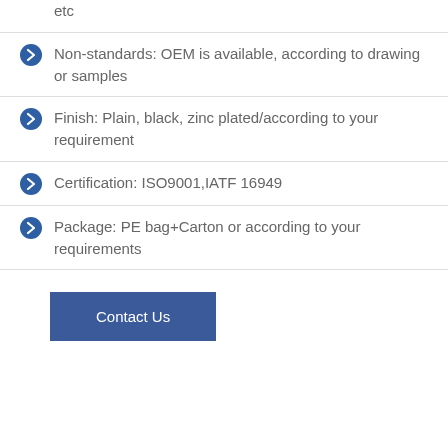etc
Non-standards: OEM is available, according to drawing or samples
Finish: Plain, black, zinc plated/according to your requirement
Certification: ISO9001,IATF 16949
Package: PE bag+Carton or according to your requirements
Contact Us